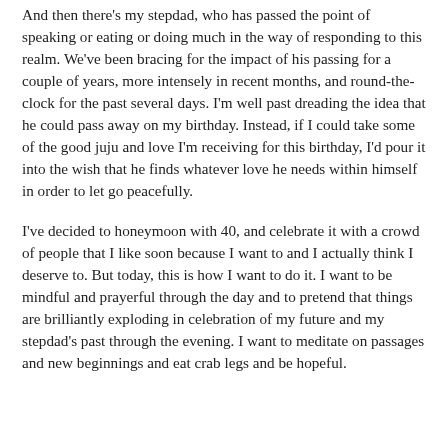And then there's my stepdad, who has passed the point of speaking or eating or doing much in the way of responding to this realm. We've been bracing for the impact of his passing for a couple of years, more intensely in recent months, and round-the-clock for the past several days. I'm well past dreading the idea that he could pass away on my birthday. Instead, if I could take some of the good juju and love I'm receiving for this birthday, I'd pour it into the wish that he finds whatever love he needs within himself in order to let go peacefully.
I've decided to honeymoon with 40, and celebrate it with a crowd of people that I like soon because I want to and I actually think I deserve to. But today, this is how I want to do it. I want to be mindful and prayerful through the day and to pretend that things are brilliantly exploding in celebration of my future and my stepdad's past through the evening. I want to meditate on passages and new beginnings and eat crab legs and be hopeful.